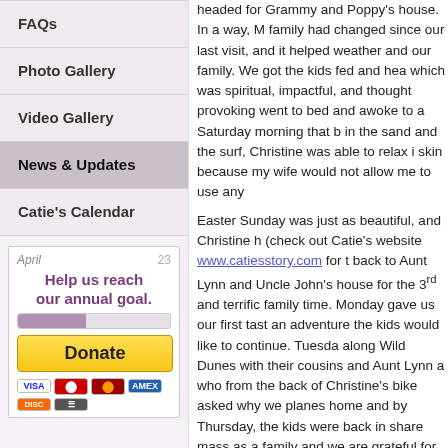FAQs
Photo Gallery
Video Gallery
News & Updates
Catie's Calendar
[Figure (infographic): Donation box with 'Help us reach our annual goal.' text, a yellow Donate button, and payment card icons (VISA, Mastercard, Amex, Discover, and other).]
headed for Grammy and Poppy's house. In a way, M family had changed since our last visit, and it helped weather and our family. We got the kids fed and hea which was spiritual, impactful, and thought provoking went to bed and awoke to a Saturday morning that b in the sand and the surf, Christine was able to relax i skin because my wife would not allow me to use any
Easter Sunday was just as beautiful, and Christine h (check out Catie's website www.catiesstory.com for t back to Aunt Lynn and Uncle John's house for the 3rd and terrific family time. Monday gave us our first tast an adventure the kids would like to continue. Tuesda along Wild Dunes with their cousins and Aunt Lynn a who from the back of Christine's bike asked why we planes home and by Thursday, the kids were back in share mass as a family and we are grateful for the bl wonderful vacation, thank you Grammy and Poppy, D
Throughout the vacation, Catie's absence was palpa we took the Easter picture on the steps of Grammy's spot was empty. As we counted colorful bathing suits getting to five instead of six. Each time that the empt reminded me that this was Easter and that because o assured. Each time, His grace brought me calm and Christine and the other 5 home to heaven (and she...